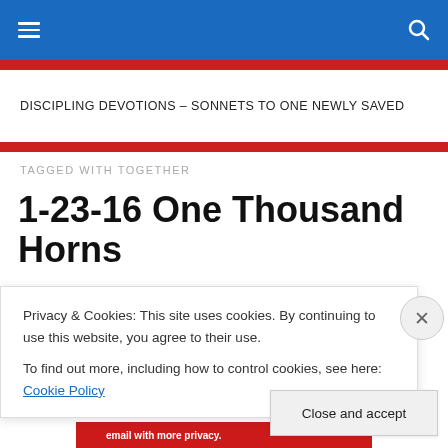Navigation bar with hamburger menu and search icon
DISCIPLING DEVOTIONS – SONNETS TO ONE NEWLY SAVED
TAGGED WITH TOGETHER
1-23-16 One Thousand Horns
[Figure (screenshot): Dark colored image strip at top of post thumbnail]
Privacy & Cookies: This site uses cookies. By continuing to use this website, you agree to their use.
To find out more, including how to control cookies, see here: Cookie Policy
Close and accept
[Figure (screenshot): Bottom image strip with red background and text about email privacy]